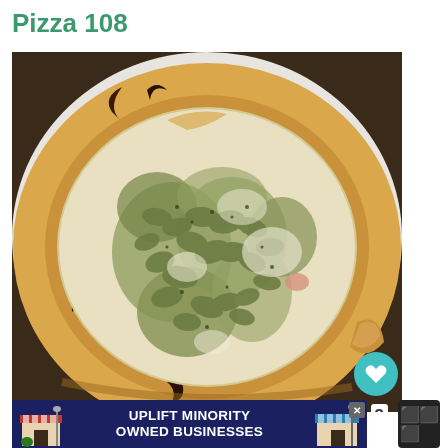Pizza 108
[Figure (photo): Overhead close-up photo of a Neapolitan-style pizza with artichoke hearts and melted cheese on a white plate, set on a dark wooden table. The crust is charred in spots. A teal circular heart/like button with heart icon and a share button overlay the bottom-right of the image, with the number 3 nearby.]
[Figure (screenshot): Advertisement banner at the bottom reading 'UPLIFT MINORITY OWNED BUSINESSES' in bold white text on a dark navy background, flanked by illustrated building graphics. An X close button appears in the upper right of the banner.]